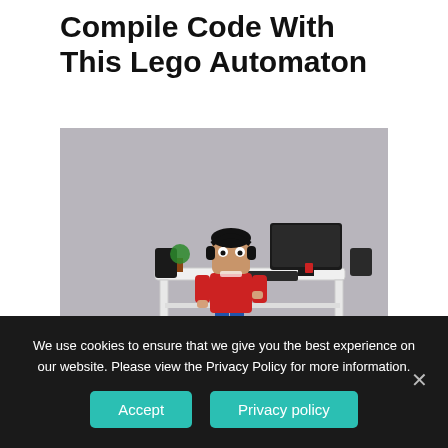Compile Code With This Lego Automaton
[Figure (photo): A Lego minifigure scene showing a person in a red shirt with headphones sitting at a white standing desk with a monitor, keyboard, speakers, and a small plant. The figure appears to be working at a computer setup built entirely from Lego bricks, on a light wooden-colored base plate.]
We use cookies to ensure that we give you the best experience on our website. Please view the Privacy Policy for more information.